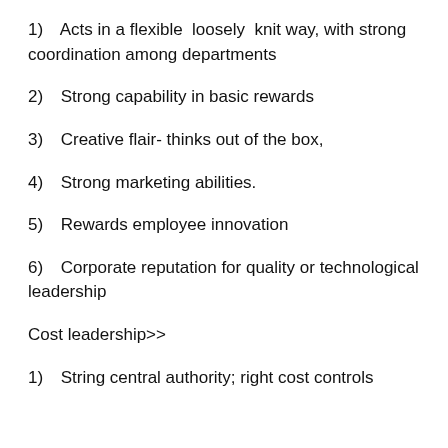1)  Acts in a flexible  loosely  knit way, with strong coordination among departments
2)  Strong capability in basic rewards
3)  Creative flair- thinks out of the box,
4)  Strong marketing abilities.
5)  Rewards employee innovation
6)  Corporate reputation for quality or technological leadership
Cost leadership>>
1)  String central authority; right cost controls